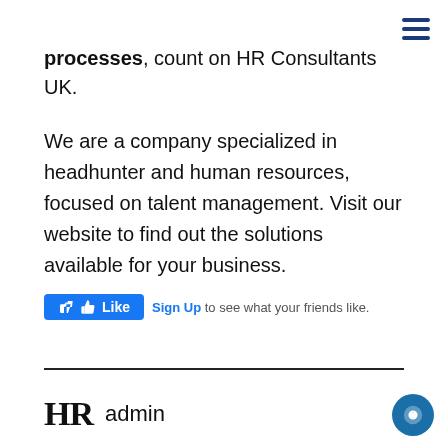processes, count on HR Consultants UK.
We are a company specialized in headhunter and human resources, focused on talent management. Visit our website to find out the solutions available for your business.
[Figure (screenshot): Facebook Like button widget with thumbs-up icon and 'Sign Up to see what your friends like.' text]
HR admin